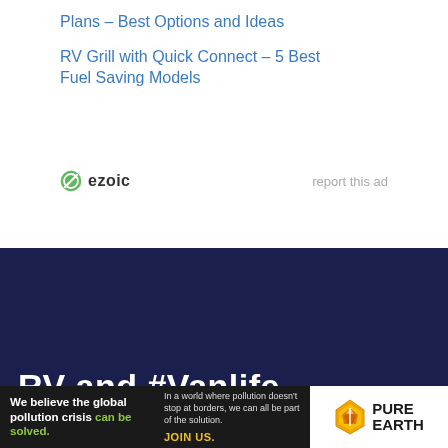Plans – Best Options and Ideas
RV Grill with Quick Connect – 5 Best Fuel Saving Models
[Figure (logo): Ezoic logo with green circle-slash icon and bold 'ezoic' text; 'report this ad' text on right]
[Figure (other): Dark navy blue background section filling lower portion of page]
RV and #Vanlife
[Figure (other): Pure Earth advertisement banner at bottom: black left section with text 'We believe the global pollution crisis can be solved.' and 'In a world where pollution doesn't stop at borders, we can all be part of the solution. JOIN US.' White right section with Pure Earth logo (orange/yellow diamond with downward arrow) and 'PURE EARTH' text]